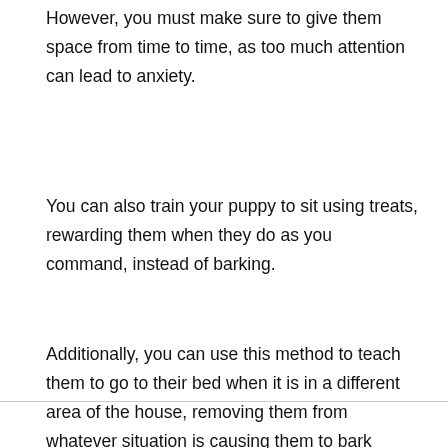However, you must make sure to give them space from time to time, as too much attention can lead to anxiety.
You can also train your puppy to sit using treats, rewarding them when they do as you command, instead of barking.
Additionally, you can use this method to teach them to go to their bed when it is in a different area of the house, removing them from whatever situation is causing them to bark (such as a cat outside, or the postman knocking on the door).